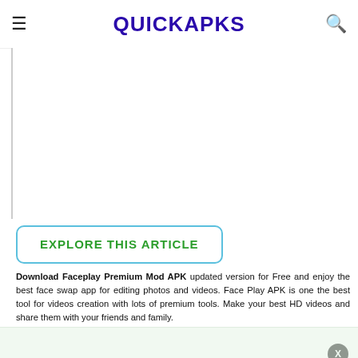QUICKAPKS
[Figure (other): Advertisement / blank white area below header]
EXPLORE THIS ARTICLE
Download Faceplay Premium Mod APK updated version for Free and enjoy the best face swap app for editing photos and videos. Face Play APK is one the best tool for videos creation with lots of premium tools. Make your best HD videos and share them with your friends and family.
What Is Faceplay Premium? Why Download Face Play APK For Android?
Faceplay Premium Mod APK is a popular Face App or